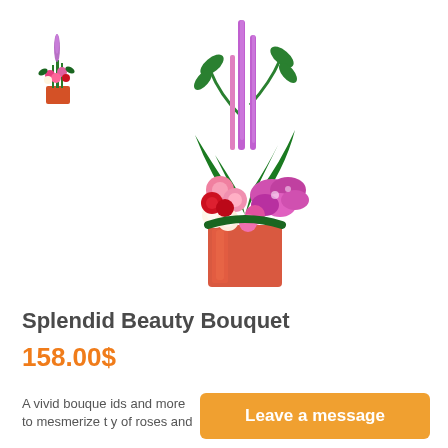[Figure (photo): Thumbnail image of a colorful flower bouquet arrangement with pink, red, and white flowers in a red vase]
[Figure (photo): Large main product image of a tall flower bouquet arrangement featuring purple liatris spikes, pink orchids, red and white roses, and green foliage in a square red glass vase]
Splendid Beauty Bouquet
158.00$
A vivid bouquet … ids and more to mesmerize t… y of roses and